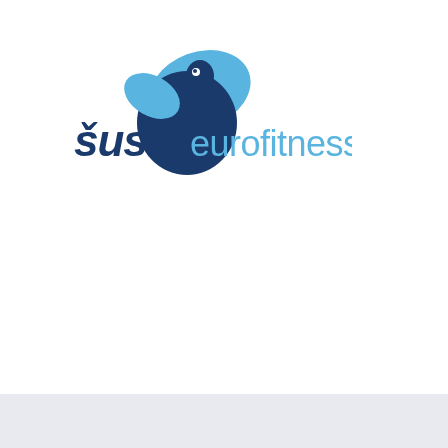[Figure (logo): ŠUS eurofitness logo with stylized blue athlete figure and text 'šus eurofitness']